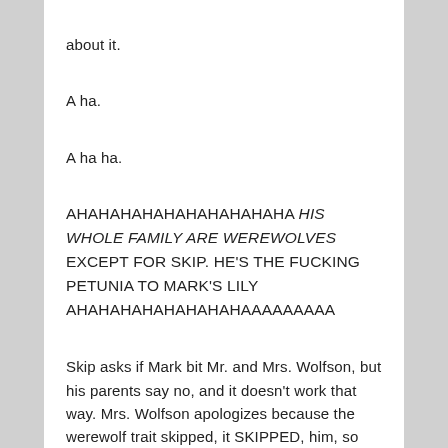about it.
A ha.
A ha ha.
AHAHAHAHAHAHAHAHAHAHA HIS WHOLE FAMILY ARE WEREWOLVES EXCEPT FOR SKIP. HE'S THE FUCKING PETUNIA TO MARK'S LILY AHAHAHAHAHAHAHAHAAAAAAAAA
Skip asks if Mark bit Mr. and Mrs. Wolfson, but his parents say no, and it doesn't work that way. Mrs. Wolfson apologizes because the werewolf trait skipped, it SKIPPED, him, so Mark's transformation surprised the parents. They do report Skip had some traits of a werewolf baby at an early age,